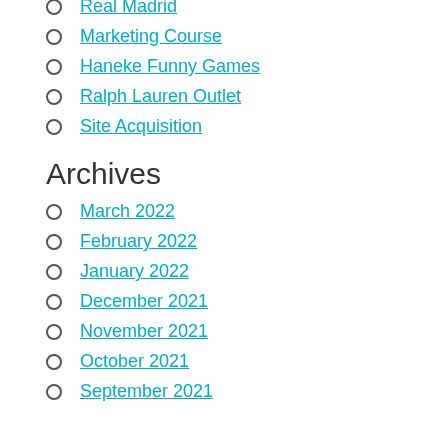Real Madrid
Marketing Course
Haneke Funny Games
Ralph Lauren Outlet
Site Acquisition
Archives
March 2022
February 2022
January 2022
December 2021
November 2021
October 2021
September 2021